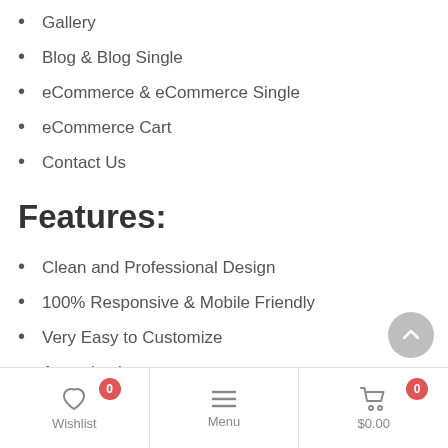Gallery
Blog & Blog Single
eCommerce & eCommerce Single
eCommerce Cart
Contact Us
Features:
Clean and Professional Design
100% Responsive & Mobile Friendly
Very Easy to Customize
Attractive Image
Mobile Sticky Header
Responsive Design & Mobile-Optimized
Advanced Contact Form
Beautiful Gallery & Blog Post Layouts
Wishlist  0    Menu    $0.00  0